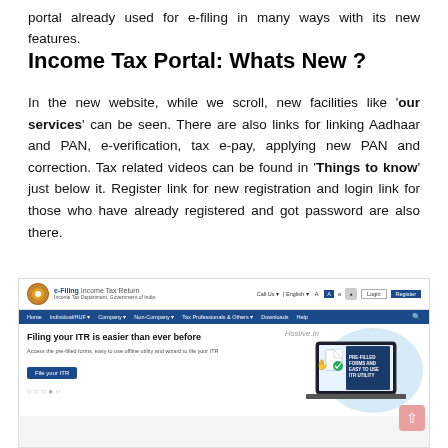portal already used for e-filing in many ways with its new features.
Income Tax Portal: Whats New ?
In the new website, while we scroll, new facilities like 'our services' can be seen. There are also links for linking Aadhaar and PAN, e-verification, tax e-pay, applying new PAN and correction. Tax related videos can be found in 'Things to know' just below it. Register link for new registration and login link for those who have already registered and got password are also there.
[Figure (screenshot): Screenshot of the Income Tax e-Filing portal (incometax.gov.in) showing the navigation bar with Home, Individual/HUF, Company, Non-Company, Tax Professionals & Others, Downloads, Help menus, and a section titled 'Filing your ITR is easier than ever before' with a 'File your ITR' button and an illustration of a laptop showing PRE-FILLED FORMS AND EASY TO USE ITR UTILITY. Hsslive.in watermark is present.]